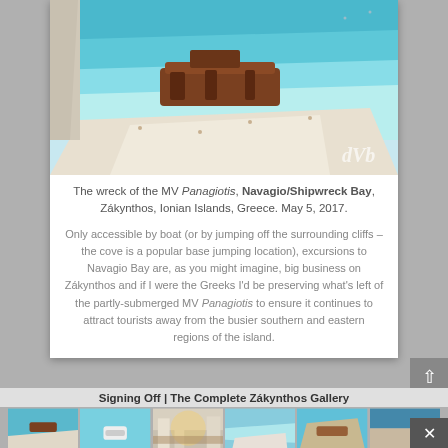[Figure (photo): Aerial photo of Navagio/Shipwreck Bay, Zákynthos, showing the MV Panagiotis shipwreck on a white sand beach with turquoise water. Watermark 'dVb' in lower right.]
The wreck of the MV Panagiotis, Navagio/Shipwreck Bay, Zákynthos, Ionian Islands, Greece. May 5, 2017.
Only accessible by boat (or by jumping off the surrounding cliffs – the cove is a popular base jumping location), excursions to Navagio Bay are, as you might imagine, big business on Zákynthos and if I were the Greeks I'd be preserving what's left of the partly-submerged MV Panagiotis to ensure it continues to attract tourists away from the busier southern and eastern regions of the island.
Signing Off | The Complete Zákynthos Gallery
[Figure (photo): Gallery of thumbnail photos from Zákynthos, showing beach, boat, town, bay, and coastline scenes arranged in two rows of six thumbnails.]